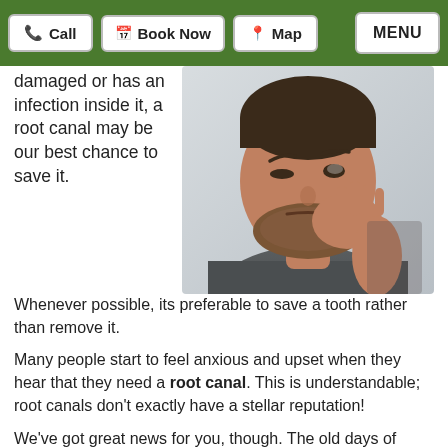Call | Book Now | Map | MENU
damaged or has an infection inside it, a root canal may be our best chance to save it.
[Figure (photo): Man holding his jaw/cheek in pain, grimacing, with a beard wearing a grey t-shirt against a light grey background]
Whenever possible, its preferable to save a tooth rather than remove it.
Many people start to feel anxious and upset when they hear that they need a root canal. This is understandable; root canals don't exactly have a stellar reputation!
We've got great news for you, though. The old days of uncomfortable root canals are gone. Improvements in dental techniques and technologies allow dentists to perform root canals that are more comfortable and more predictable with a higher success rate.